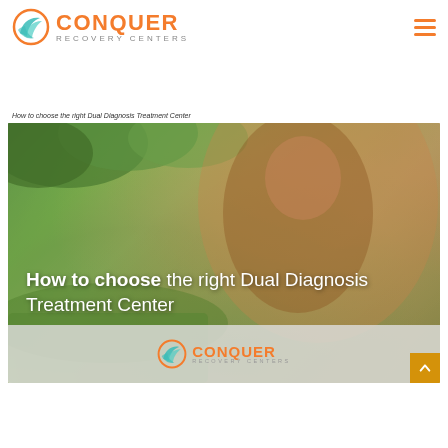[Figure (logo): Conquer Recovery Centers logo with teal/orange leaf icon and orange CONQUER wordmark with grey RECOVERY CENTERS subtitle]
How to choose the right Dual Diagnosis Treatment Center
[Figure (photo): Hero image of smiling woman with long auburn hair outdoors with trees in background, overlaid with text 'How to choose the right Dual Diagnosis Treatment Center' and Conquer Recovery Centers logo bar at bottom]